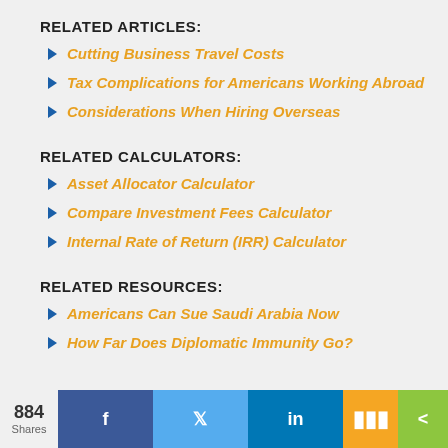RELATED ARTICLES:
Cutting Business Travel Costs
Tax Complications for Americans Working Abroad
Considerations When Hiring Overseas
RELATED CALCULATORS:
Asset Allocator Calculator
Compare Investment Fees Calculator
Internal Rate of Return (IRR) Calculator
RELATED RESOURCES:
Americans Can Sue Saudi Arabia Now
How Far Does Diplomatic Immunity Go?
884 Shares